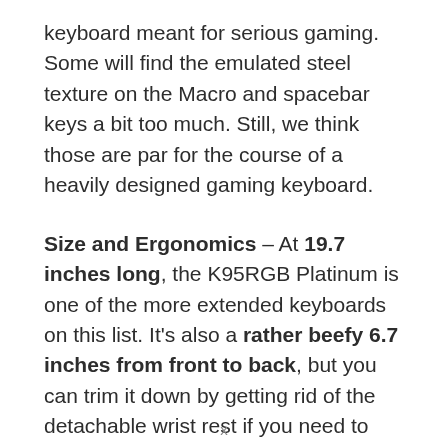keyboard meant for serious gaming. Some will find the emulated steel texture on the Macro and spacebar keys a bit too much. Still, we think those are par for the course of a heavily designed gaming keyboard.
Size and Ergonomics – At 19.7 inches long, the K95RGB Platinum is one of the more extended keyboards on this list. It's also a rather beefy 6.7 inches from front to back, but you can trim it down by getting rid of the detachable wrist rest if you need to spare the desk space. Another good thing about the wrist rest is that you can
x